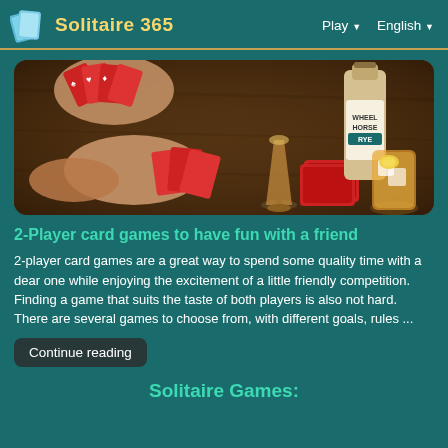Solitaire 365  Play ▼  English ▼
[Figure (photo): People playing card games at a wooden table with a Wheel Horse Rye whiskey bottle, a glass with ice and whiskey, and playing cards scattered on the table]
2-Player card games to have fun with a friend
2-player card games are a great way to spend some quality time with a dear one while enjoying the excitement of a little friendly competition. Finding a game that suits the taste of both players is also not hard. There are several games to choose from, with different goals, rules ...
Continue reading
Solitaire Games: